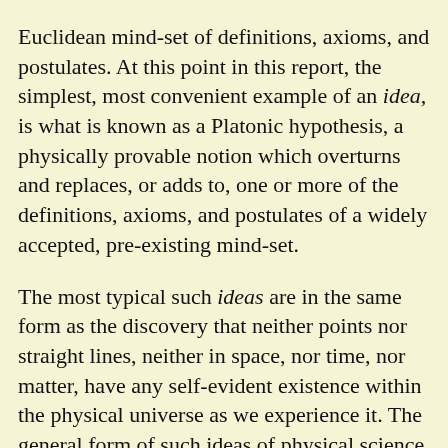Euclidean mind-set of definitions, axioms, and postulates. At this point in this report, the simplest, most convenient example of an idea, is what is known as a Platonic hypothesis, a physically provable notion which overturns and replaces, or adds to, one or more of the definitions, axioms, and postulates of a widely accepted, pre-existing mind-set.
The most typical such ideas are in the same form as the discovery that neither points nor straight lines, neither in space, nor time, nor matter, have any self-evident existence within the physical universe as we experience it. The general form of such ideas of physical science as such, is the ejection of blind faith in the notion of "action at a distance," ejecting such popular, childish notions of matter, as points existing within aprioristic space and time; those errors of blind faith are to be replaced by the experimentally based notion of a non-Euclidean (or, anti-Euclidean) physical space-time.[17]
This latter notion is met in Plato's dialogues, and other, pre-Roman, Classical Greek science and art; however, for convenience, we focus, at this moment, upon the ... of anti-Euclidean physical space-time...